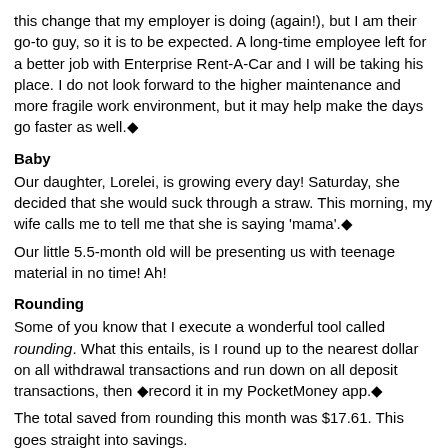this change that my employer is doing (again!), but I am their go-to guy, so it is to be expected. A long-time employee left for a better job with Enterprise Rent-A-Car and I will be taking his place. I do not look forward to the higher maintenance and more fragile work environment, but it may help make the days go faster as well.◆
Baby
Our daughter, Lorelei, is growing every day! Saturday, she decided that she would suck through a straw. This morning, my wife calls me to tell me that she is saying 'mama'.◆
Our little 5.5-month old will be presenting us with teenage material in no time! Ah!
Rounding
Some of you know that I execute a wonderful tool called rounding. What this entails, is I round up to the nearest dollar on all withdrawal transactions and run down on all deposit transactions, then ◆record it in my PocketMoney app.◆
The total saved from rounding this month was $17.61. This goes straight into savings.
Fuel Economy
I am consistently achieving 120% of my vehicle's EPA rating. The car is rated at 27mpg city/hwy (55%/45%). However, I am getting - on a long-term average - 35mpg, driving 85% city, 15% hwy. Last tank, I reached an astounding 38 mpg. This is great for a 2.0L engine. Granted, my previous Honda Fit's engine got 42mpg without trying...